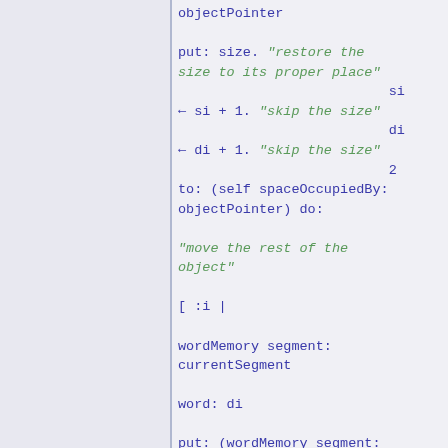objectPointer

put: size. "restore the size to its proper place"
                              si
← si + 1. "skip the size"
                              di
← di + 1. "skip the size"
                              2
to: (self spaceOccupiedBy: objectPointer) do:

"move the rest of the object"

[ :i |

wordMemory segment: currentSegment

word: di

put: (wordMemory segment:

currentSegment